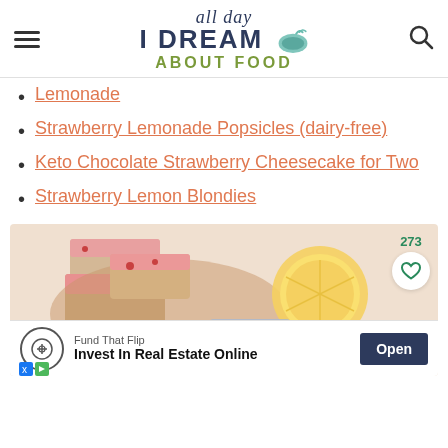all day I DREAM ABOUT FOOD
Lemonade
Strawberry Lemonade Popsicles (dairy-free)
Keto Chocolate Strawberry Cheesecake for Two
Strawberry Lemon Blondies
[Figure (photo): Food photo showing pink-glazed strawberry lemon blondies on a wooden board with lemon slices, with a like button showing 273 likes]
Fund That Flip — Invest In Real Estate Online — Open